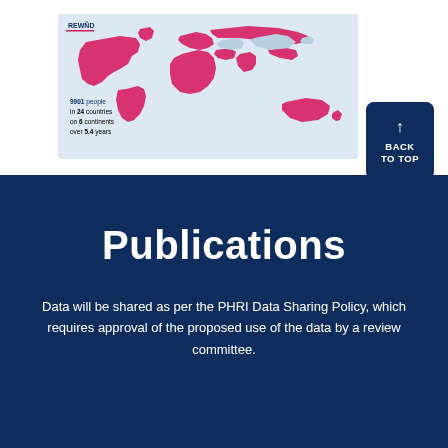[Figure (map): World map with countries highlighted in pink/magenta, showing REWND network coverage. Text overlay reads: 9901 people in 24 countries on 6 continents over 5.4 years. REWND logo in top-left corner.]
↑ BACK TO TOP
Publications
Data will be shared as per the PHRI Data Sharing Policy, which requires approval of the proposed use of the data by a review committee.